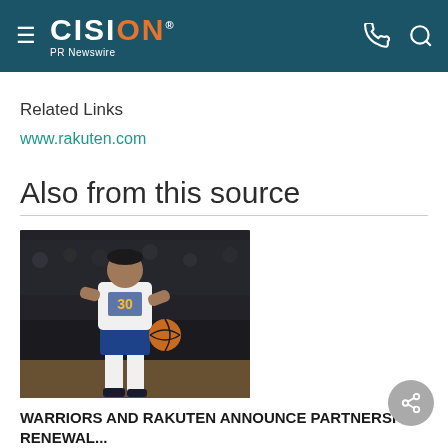CISION PR Newswire
Related Links
www.rakuten.com
Also from this source
[Figure (photo): Basketball player in Golden State Warriors uniform dribbling during a game]
WARRIORS AND RAKUTEN ANNOUNCE PARTNERSHIP RENEWAL...